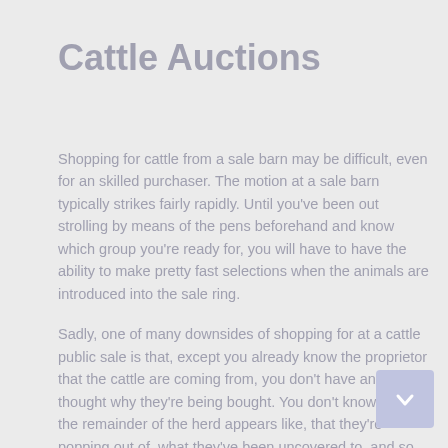Cattle Auctions
Shopping for cattle from a sale barn may be difficult, even for an skilled purchaser. The motion at a sale barn typically strikes fairly rapidly. Until you've been out strolling by means of the pens beforehand and know which group you're ready for, you will have to have the ability to make pretty fast selections when the animals are introduced into the sale ring.
Sadly, one of many downsides of shopping for at a cattle public sale is that, except you already know the proprietor that the cattle are coming from, you don't have any thought why they're being bought. You don't know what the remainder of the herd appears like, that they're popping out of, what they've been uncovered to, and so forth.
There are additionally lots of nice cattle...